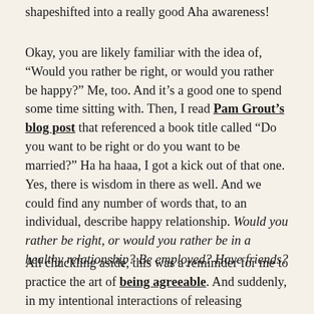shapeshifted into a really good Aha awareness!
Okay, you are likely familiar with the idea of, “Would you rather be right, or would you rather be happy?” Me, too. And it’s a good one to spend some time sitting with. Then, I read Pam Grout’s blog post that referenced a book title called “Do you want to be right or do you want to be married?” Ha ha haaa, I got a kick out of that one. Yes, there is wisdom in there as well. And we could find any number of words that, to an individual, describe happy relationship. Would you rather be right, or would you rather be in a healthy relationship? Be employed? Have friends?
All chuckling aside, this was a remimder for me to practice the art of being agreeable. And suddenly, in my intentional interactions of releasing righteousness